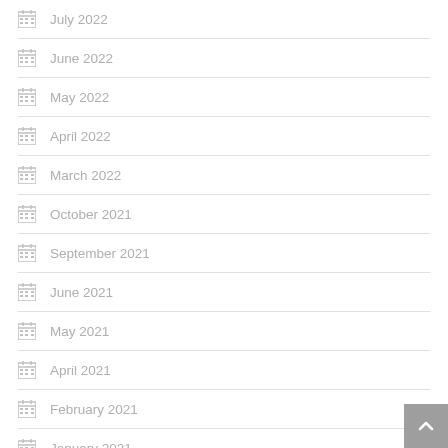July 2022
June 2022
May 2022
April 2022
March 2022
October 2021
September 2021
June 2021
May 2021
April 2021
February 2021
January 2021